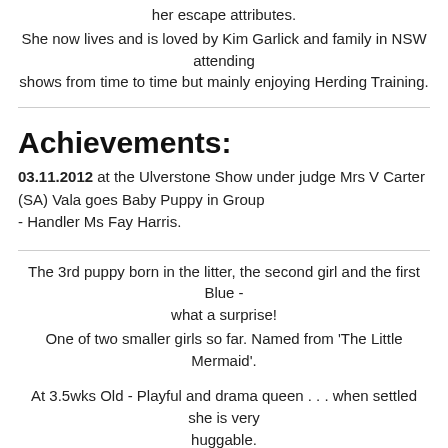her escape attributes.
She now lives and is loved by Kim Garlick and family in NSW attending shows from time to time but mainly enjoying Herding Training.
Achievements:
03.11.2012 at the Ulverstone Show under judge Mrs V Carter (SA) Vala goes Baby Puppy in Group
- Handler Ms Fay Harris.
The 3rd puppy born in the litter, the second girl and the first Blue - what a surprise!
One of two smaller girls so far. Named from 'The Little Mermaid'.
At 3.5wks Old - Playful and drama queen . . . when settled she is very huggable.
At 6weeks old - the first puppy in the litter to have both her ears up.